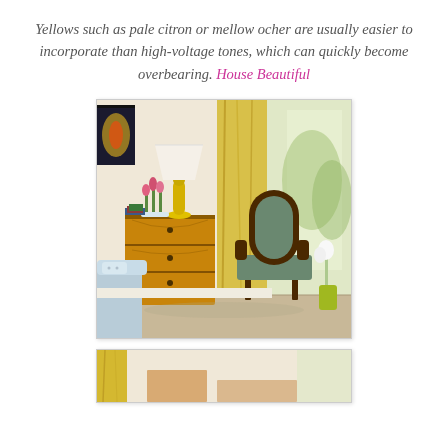Yellows such as pale citron or mellow ocher are usually easier to incorporate than high-voltage tones, which can quickly become overbearing. House Beautiful
[Figure (photo): Interior room photo showing a French-style upholstered armchair in sage/teal, a wooden dresser with a yellow gourd lamp and pink tulips, yellow silk curtains by a bright window, a colorful artwork on the wall, and a light blue sofa partially visible in the foreground.]
[Figure (photo): Partial view of another interior room with yellow accents, cropped at the bottom of the page.]